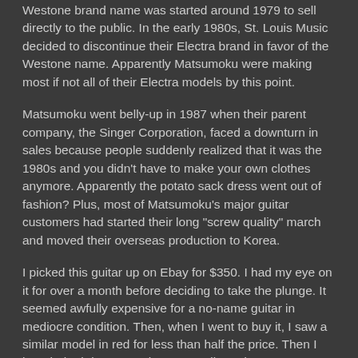Westone brand name was started around 1979 to sell directly to the public. In the early 1980s, St. Louis Music decided to discontinue their Electra brand in favor of the Westone name. Apparently Matsumoku were making most if not all of their Electra models by this point.
Matsumoku went belly-up in 1987 when their parent company, the Singer Corporation, faced a downturn in sales because people suddenly realized that it was the 1980s and you didn't have to make your own clothes anymore. Apparently the potato sack dress went out of fashion? Plus, most of Matsumoku's major guitar customers had started their long "screw quality" march and moved their overseas production to Korea.
I picked this guitar up on Ebay for $350. I had my eye on it for over a month before deciding to take the plunge. It seemed awfully expensive for a no-name guitar in mediocre condition. Then, when I went to buy it, I saw a similar model in red for less than half the price. Then I bought both because I have a credit card!
[Figure (photo): Photo of a blue electric guitar (Westone brand) showing the body and neck/fretboard, placed against a white background.]